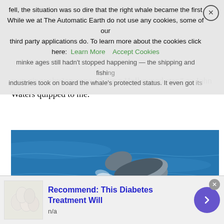fell, the situation was so dire that the right whale became the first cetacean to be protected by U.S. law. But by the turn of the century, the minke ages still hadn't stopped happening — the shipping and fishing industries took on board the whale's protected status. It even got its own air exclusion zone. “Like a Hollywood star,” as John Waters quipped to me.
While we at The Automatic Earth do not use any cookies, some of our third party applications do. To learn more about the cookies click here: Learn More   Accept Cookies
[Figure (photo): Aerial view of a right whale (and possibly a calf) swimming at the ocean surface, photographed from above. The whale is dark grey/black against bright blue water.]
Recommend: This Diabetes Treatment Will
n/a